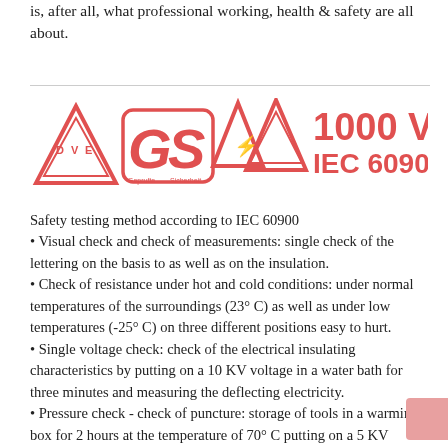is, after all, what professional working, health & safety are all about.
[Figure (logo): DVE and GS certification logos alongside two electrical hazard triangle symbols with '1000 V IEC 60900' text in pink/red]
Safety testing method according to IEC 60900
• Visual check and check of measurements: single check of the lettering on the basis to as well as on the insulation.
• Check of resistance under hot and cold conditions: under normal temperatures of the surroundings (23° C) as well as under low temperatures (-25° C) on three different positions easy to hurt.
• Single voltage check: check of the electrical insulating characteristics by putting on a 10 KV voltage in a water bath for three minutes and measuring the deflecting electricity.
• Pressure check - check of puncture: storage of tools in a warming box for 2 hours at the temperature of 70° C putting on a 5 KV Voltage for three minutes and raising a power of 20 N on the insulation.